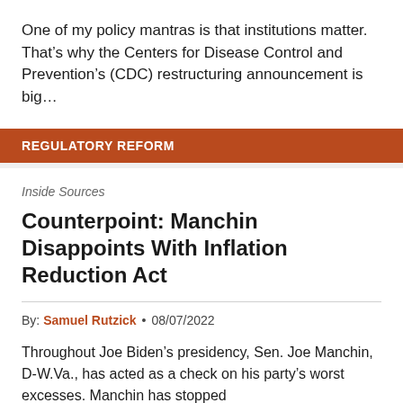One of my policy mantras is that institutions matter. That’s why the Centers for Disease Control and Prevention’s (CDC) restructuring announcement is big…
REGULATORY REFORM
Inside Sources
Counterpoint: Manchin Disappoints With Inflation Reduction Act
By: Samuel Rutzick • 08/07/2022
Throughout Joe Biden’s presidency, Sen. Joe Manchin, D-W.Va., has acted as a check on his party’s worst excesses. Manchin has stopped